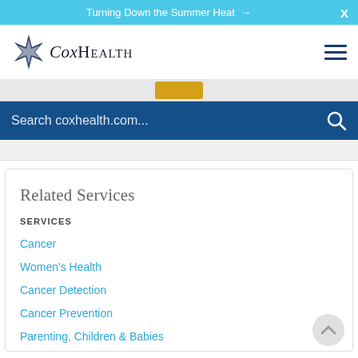Turning Down the Summer Heat →
[Figure (logo): CoxHealth logo with star/compass rose icon and serif wordmark]
Search coxhealth.com...
Related Services
SERVICES
Cancer
Women's Health
Cancer Detection
Cancer Prevention
Parenting, Children & Babies